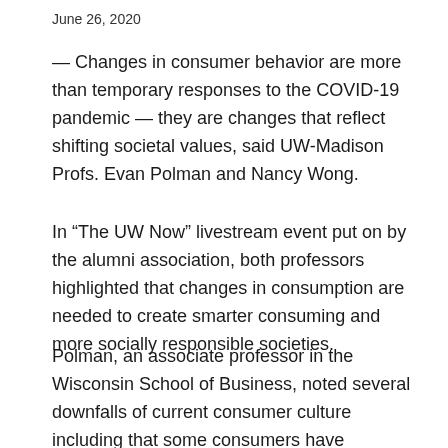June 26, 2020
— Changes in consumer behavior are more than temporary responses to the COVID-19 pandemic — they are changes that reflect shifting societal values, said UW-Madison Profs. Evan Polman and Nancy Wong.
In “The UW Now” livestream event put on by the alumni association, both professors highlighted that changes in consumption are needed to create smarter consuming and more socially responsible societies.
Polman, an associate professor in the Wisconsin School of Business, noted several downfalls of current consumer culture including that some consumers have responded to the pandemic by stockpiling goods, a decision caused by panic. Other behaviors included price gouging — a way for businesses to use surcharges to pass on expenses to the